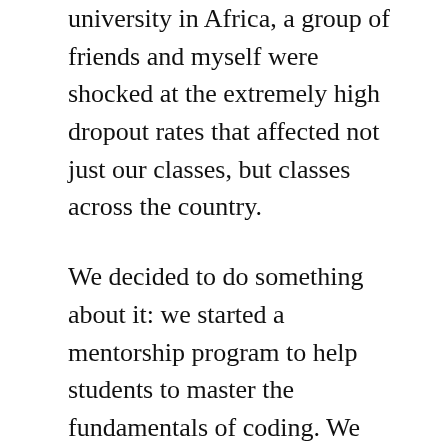university in Africa, a group of friends and myself were shocked at the extremely high dropout rates that affected not just our classes, but classes across the country.
We decided to do something about it: we started a mentorship program to help students to master the fundamentals of coding. We added mentor after mentor, until our network spanned dozens of universities across two continents.
Later on, I realised the difficulties people faced with learning the skills that could get them rewarding, fulfilling careers – and so HyperionDev expanded to teaching people outside of universities...